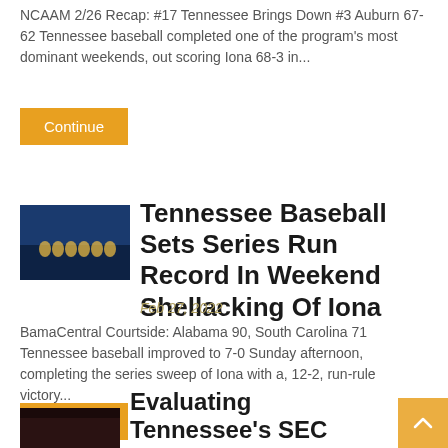NCAAM 2/26 Recap: #17 Tennessee Brings Down #3 Auburn 67-62 Tennessee baseball completed one of the program's most dominant weekends, out scoring Iona 68-3 in...
Continue
[Figure (photo): Tennessee baseball team photo thumbnail]
Tennessee Baseball Sets Series Run Record In Weekend Shellacking Of Iona
Feb 27, 2022
BamaCentral Courtside: Alabama 90, South Carolina 71 Tennessee baseball improved to 7-0 Sunday afternoon, completing the series sweep of Iona with a, 12-2, run-rule victory...
Continue
[Figure (photo): Small thumbnail image at bottom left]
Evaluating Tennessee's SEC